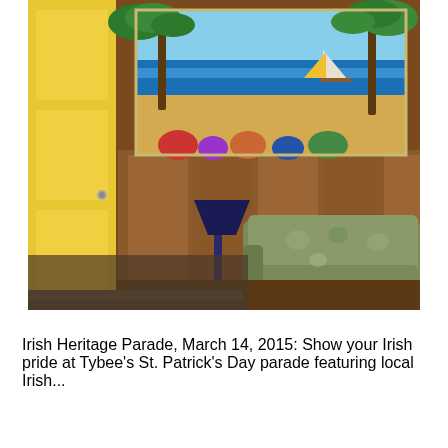[Figure (photo): Interior room photo showing a yellow door on the left, wood-paneled walls with a tropical beach mural painting hanging on the wall, a blue table lamp on a small side table, and a large floral-patterned armchair/sofa in the foreground.]
Irish Heritage Parade, March 14, 2015: Show your Irish pride at Tybee's St. Patrick's Day parade featuring local Irish...